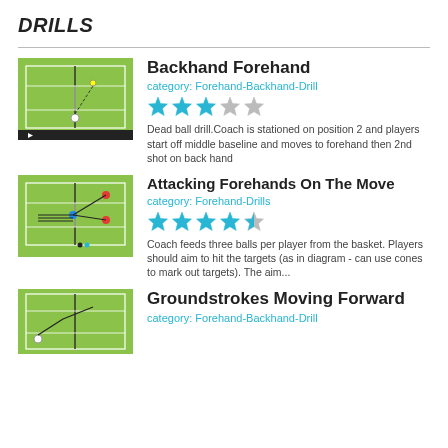DRILLS
[Figure (illustration): Tennis court diagram for Backhand Forehand drill]
Backhand Forehand
category: Forehand-Backhand-Drill
[Figure (illustration): 3-star rating out of 5 stars (3 filled blue, 2 grey)]
Dead ball drill.Coach is stationed on position 2 and players start off middle baseline and moves to forehand then 2nd shot on back hand
[Figure (illustration): Tennis court diagram for Attacking Forehands On The Move drill]
Attacking Forehands On The Move
category: Forehand-Drills
[Figure (illustration): 4.5-star rating out of 5 (4 filled blue, 1 half grey)]
Coach feeds three balls per player from the basket. Players should aim to hit the targets (as in diagram - can use cones to mark out targets). The aim...
[Figure (illustration): Tennis court diagram for Groundstrokes Moving Forward drill]
Groundstrokes Moving Forward
category: Forehand-Backhand-Drill